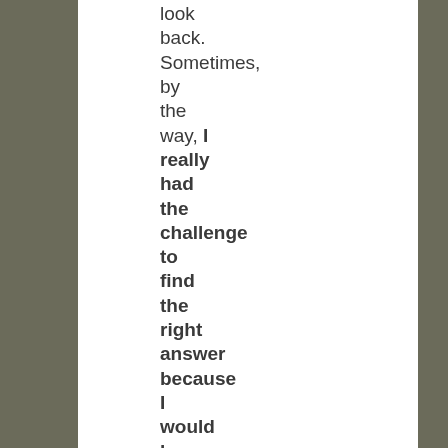look back. Sometimes, by the way, I really had the challenge to find the right answer because I would have said “it depends”